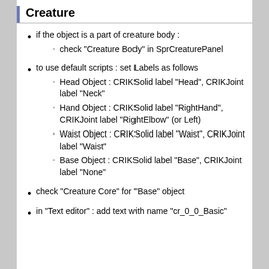Creature
if the object is a part of creature body :
check "Creature Body" in SprCreaturePanel
to use default scripts : set Labels as follows
Head Object : CRIKSolid label "Head", CRIKJoint label "Neck"
Hand Object : CRIKSolid label "RightHand", CRIKJoint label "RightElbow" (or Left)
Waist Object : CRIKSolid label "Waist", CRIKJoint label "Waist"
Base Object : CRIKSolid label "Base", CRIKJoint label "None"
check "Creature Core" for "Base" object
in "Text editor" : add text with name "cr_0_0_Basic"